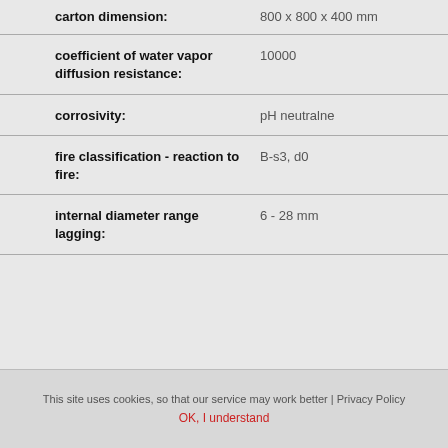| Property | Value |
| --- | --- |
| carton dimension: | 800 x 800 x 400 mm |
| coefficient of water vapor diffusion resistance: | 10000 |
| corrosivity: | pH neutralne |
| fire classification - reaction to fire: | B-s3, d0 |
| internal diameter range lagging: | 6 - 28 mm |
This site uses cookies, so that our service may work better | Privacy Policy
OK, I understand